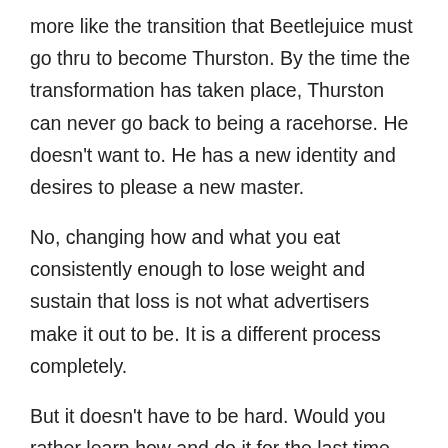more like the transition that Beetlejuice must go thru to become Thurston. By the time the transformation has taken place, Thurston can never go back to being a racehorse. He doesn't want to. He has a new identity and desires to please a new master.
No, changing how and what you eat consistently enough to lose weight and sustain that loss is not what advertisers make it out to be. It is a different process completely.
But it doesn't have to be hard. Would you rather learn how and do it for the last time, or keep running in [social share buttons]
[Figure (infographic): Social media share buttons: Facebook (blue), Twitter (light blue), LinkedIn (dark blue), Google+ (red-orange), Pinterest (dark red)]
Are you ready to learn what it takes to make real